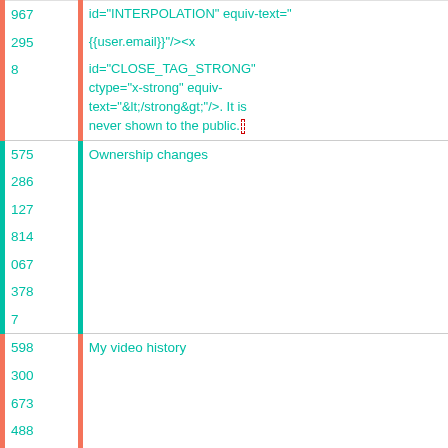| ID | Source text | Translation |
| --- | --- | --- |
| 967 | id="INTERPOLATION" equiv-text=" {{user.email}}"/><x id="CLOSE_TAG_STRONG" ctype="x-strong" equiv-text="&lt;/strong&gt;"/>. It is never shown to the public. | id="INTERPOLATION" id="CLOSE_TAG_…" ctype="x-strong" equiv-text="&lt;/strong&…"/>. never shown to the… |
| 295 |  |  |
| 8 |  |  |
| 575 | Ownership changes | Jabetza aldaketak |
| 286 |  |  |
| 127 |  |  |
| 814 |  |  |
| 067 |  |  |
| 378 |  |  |
| 7 |  |  |
| 598 | My video history | My video history |
| 300 |  |  |
| 673 |  |  |
| 488 |  |  |
| 292 |  |  |